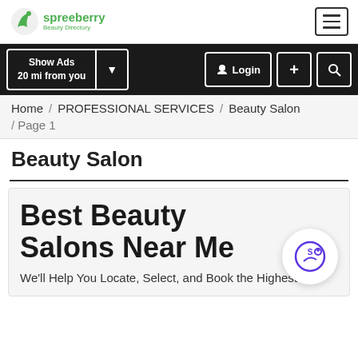[Figure (logo): Spreeberry Beauty Directory logo with green bird icon and green text]
Show Ads 20 mi from you | Login | + | Search
Home / PROFESSIONAL SERVICES / Beauty Salon / Page 1
Beauty Salon
Best Beauty Salons Near Me
We'll Help You Locate, Select, and Book the Highest-